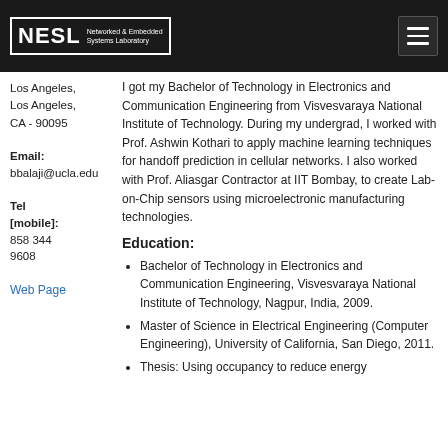NESL Networked & Embedded Systems Laboratory
Los Angeles, Los Angeles, CA - 90095
Email: bbalaji@ucla.edu
Tel [mobile]: 858 344 9608
Web Page
I got my Bachelor of Technology in Electronics and Communication Engineering from Visvesvaraya National Institute of Technology. During my undergrad, I worked with Prof. Ashwin Kothari to apply machine learning techniques for handoff prediction in cellular networks. I also worked with Prof. Aliasgar Contractor at IIT Bombay, to create Lab-on-Chip sensors using microelectronic manufacturing technologies.
Education:
Bachelor of Technology in Electronics and Communication Engineering, Visvesvaraya National Institute of Technology, Nagpur, India, 2009.
Master of Science in Electrical Engineering (Computer Engineering), University of California, San Diego, 2011.
Thesis: Using occupancy to reduce energy